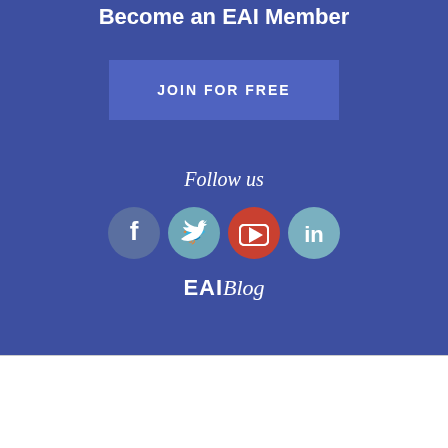Become an EAI Member
JOIN FOR FREE
Follow us
[Figure (infographic): Four social media icon circles: Facebook (dark blue-grey), Twitter (light blue-grey), YouTube (red-orange), LinkedIn (light blue-grey)]
[Figure (logo): EAI Blog logo — EAI in bold white followed by Blog in white italic script]
© 2020 SIMUtools | EAI